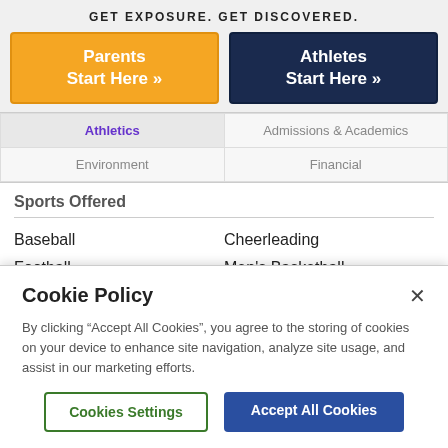GET EXPOSURE. GET DISCOVERED.
Parents Start Here »
Athletes Start Here »
| Athletics | Admissions & Academics |
| Environment | Financial |
Sports Offered
Baseball
Football
Men's Diving
Cheerleading
Men's Basketball
Men's Golf
Cookie Policy
By clicking “Accept All Cookies”, you agree to the storing of cookies on your device to enhance site navigation, analyze site usage, and assist in our marketing efforts.
Cookies Settings
Accept All Cookies